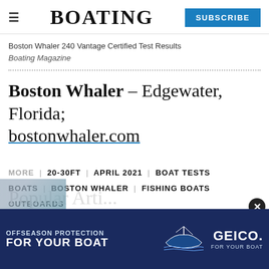BOATING  SUBSCRIBE
Boston Whaler 240 Vantage Certified Test Results
Boating Magazine
Boston Whaler – Edgewater, Florida; bostonwhaler.com
MORE  20-30FT  APRIL 2021  BOAT TESTS  BOATS  BOSTON WHALER  FISHING BOATS  OUTBOARDS
Pop...
[Figure (other): GEICO advertisement banner: OFFSEASON PROTECTION FOR YOUR BOAT with boat illustration and GEICO FOR YOUR BOAT logo]